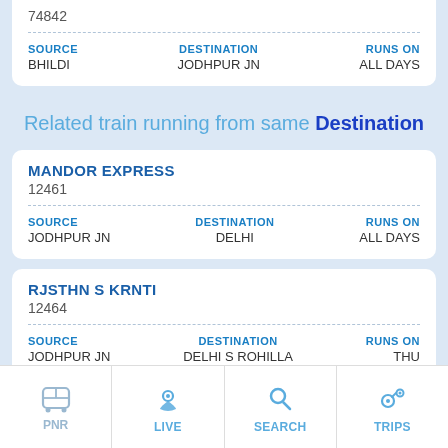74842
| SOURCE | DESTINATION | RUNS ON |
| --- | --- | --- |
| BHILDI | JODHPUR JN | ALL DAYS |
Related train running from same Destination
MANDOR EXPRESS
12461
| SOURCE | DESTINATION | RUNS ON |
| --- | --- | --- |
| JODHPUR JN | DELHI | ALL DAYS |
RJSTHN S KRNTI
12464
| SOURCE | DESTINATION | RUNS ON |
| --- | --- | --- |
| JODHPUR JN | DELHI S ROHILLA | THU |
INTERCITY EXP...
1246...
PNR | LIVE | SEARCH | TRIPS